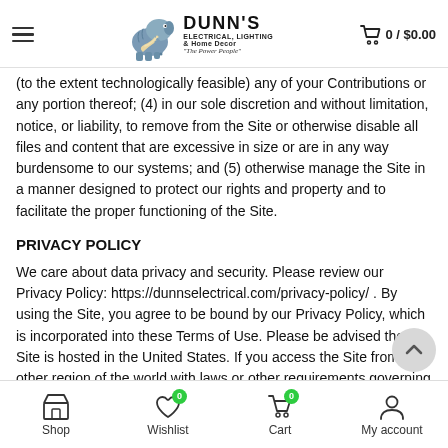Dunn's Electrical, Lighting & Home Decor — 0 / $0.00
(to the extent technologically feasible) any of your Contributions or any portion thereof; (4) in our sole discretion and without limitation, notice, or liability, to remove from the Site or otherwise disable all files and content that are excessive in size or are in any way burdensome to our systems; and (5) otherwise manage the Site in a manner designed to protect our rights and property and to facilitate the proper functioning of the Site.
PRIVACY POLICY
We care about data privacy and security. Please review our Privacy Policy: https://dunnselectrical.com/privacy-policy/ . By using the Site, you agree to be bound by our Privacy Policy, which is incorporated into these Terms of Use. Please be advised the Site is hosted in the United States. If you access the Site from any other region of the world with laws or other requirements governing personal data
Shop  Wishlist 0  Cart 0  My account